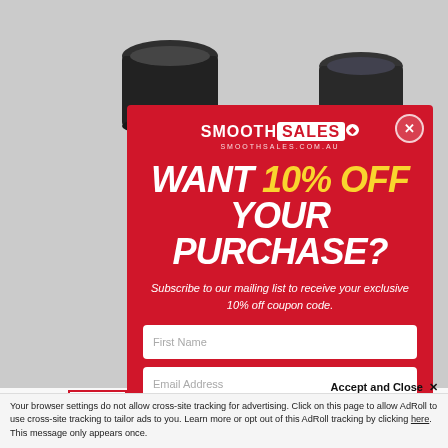[Figure (screenshot): Product page screenshot showing dark cylindrical smart speakers. Left cylinder dark gray/black. Right cylinder partially visible at right edge. White background page partially visible behind popup.]
[Figure (infographic): Smooth Sales promotional popup modal on red background. Contains logo 'SMOOTH SALES smoothsales.com.au', headline 'WANT 10% OFF YOUR PURCHASE?', subtext about mailing list subscription, First Name and Email Address input fields, and SUBSCRIBE FOR 10% OFF button.]
Bose
D
y E...
Accept and Close ✕
Your browser settings do not allow cross-site tracking for advertising. Click on this page to allow AdRoll to use cross-site tracking to tailor ads to you. Learn more or opt out of this AdRoll tracking by clicking here. This message only appears once.